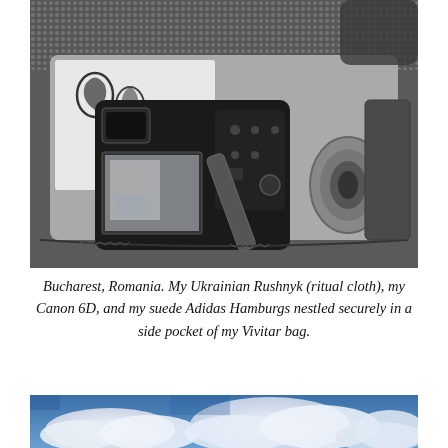[Figure (photo): Black and white photograph of a camera bag open from the top, showing a Canon 6D DSLR camera with viewfinder, LCD screen, and controls visible, along with a Ukrainian Rushnyk (ritual cloth) with decorative embroidery and a lens in a side pocket, all inside a Vivitar bag with a zipper and mesh exterior.]
Bucharest, Romania. My Ukrainian Rushnyk (ritual cloth), my Canon 6D, and my suede Adidas Hamburgs nestled securely in a side pocket of my Vivitar bag.
[Figure (photo): Color photograph of a blue sky with white clouds, cropped to show just the top portion visible at the bottom of the page.]